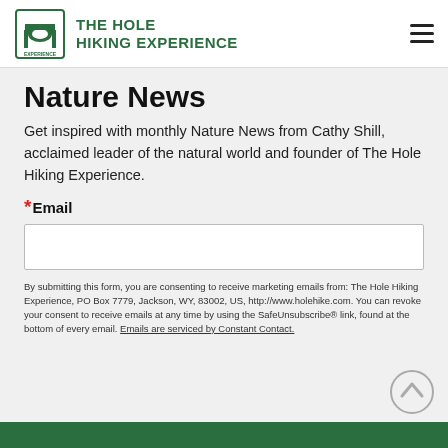THE HOLE HIKING EXPERIENCE
Nature News
Get inspired with monthly Nature News from Cathy Shill, acclaimed leader of the natural world and founder of The Hole Hiking Experience.
*Email
By submitting this form, you are consenting to receive marketing emails from: The Hole Hiking Experience, PO Box 7779, Jackson, WY, 83002, US, http://www.holehike.com. You can revoke your consent to receive emails at any time by using the SafeUnsubscribe® link, found at the bottom of every email. Emails are serviced by Constant Contact.